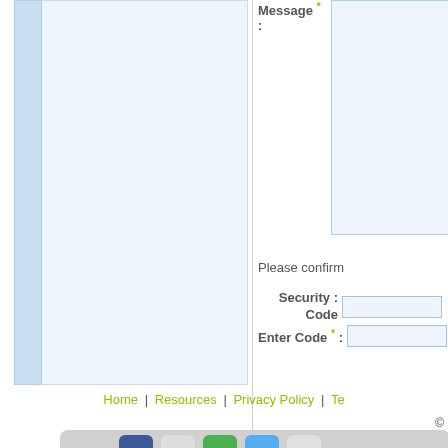[Figure (screenshot): Left panel with light blue sidebar and content box]
Message * :
Please confirm
Security Code :
Enter Code * :
Send Message
Home | Resources | Privacy Policy | Te...
©
[Figure (screenshot): Share bar with social media icons: Facebook, email, green icon, blue icon, and another icon]